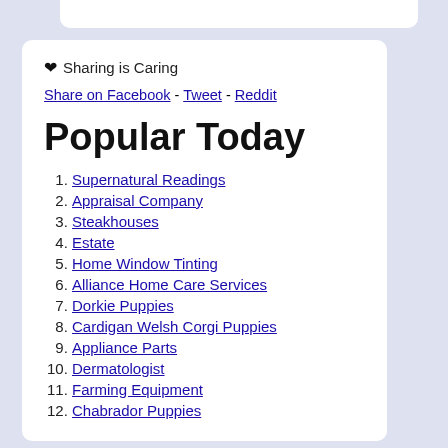❤ Sharing is Caring
Share on Facebook - Tweet - Reddit
Popular Today
1. Supernatural Readings
2. Appraisal Company
3. Steakhouses
4. Estate
5. Home Window Tinting
6. Alliance Home Care Services
7. Dorkie Puppies
8. Cardigan Welsh Corgi Puppies
9. Appliance Parts
10. Dermatologist
11. Farming Equipment
12. Chabrador Puppies